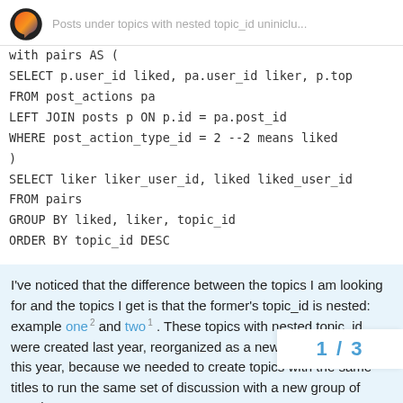Posts under topics with nested topic_id uninclu...
with pairs AS (
SELECT p.user_id liked, pa.user_id liker, p.top
FROM post_actions pa
LEFT JOIN posts p ON p.id = pa.post_id
WHERE post_action_type_id = 2 --2 means liked
)
SELECT liker liker_user_id, liked liked_user_id
FROM pairs
GROUP BY liked, liker, topic_id
ORDER BY topic_id DESC
I've noticed that the difference between the topics I am looking for and the topics I get is that the former's topic_id is nested: example one 2 and two 1 . These topics with nested topic_id were created last year, reorganized as a new category early this year, because we needed to create topics with the same titles to run the same set of discussion with a new group of people.
Please let me know if anyone know how I s
1 / 3